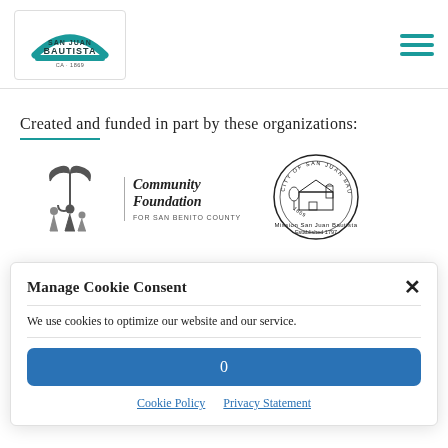San Juan Bautista
Created and funded in part by these organizations:
[Figure (logo): Community Foundation for San Benito County logo with umbrella and people icon]
[Figure (logo): City of San Juan Bautista official seal, established 1869]
Manage Cookie Consent
We use cookies to optimize our website and our service.
0
Cookie Policy   Privacy Statement